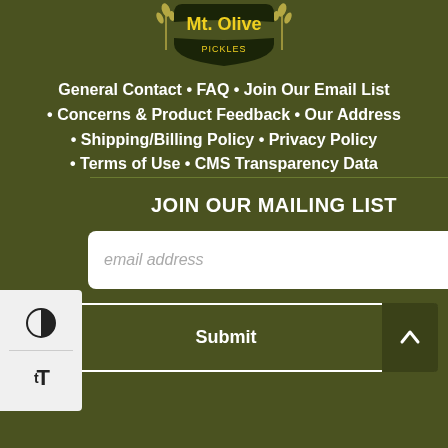[Figure (logo): Mt. Olive brand logo - yellow text on dark shield shape with wheat stalks]
General Contact • FAQ • Join Our Email List
• Concerns & Product Feedback • Our Address
• Shipping/Billing Policy • Privacy Policy
• Terms of Use • CMS Transparency Data
JOIN OUR MAILING LIST
email address
Submit